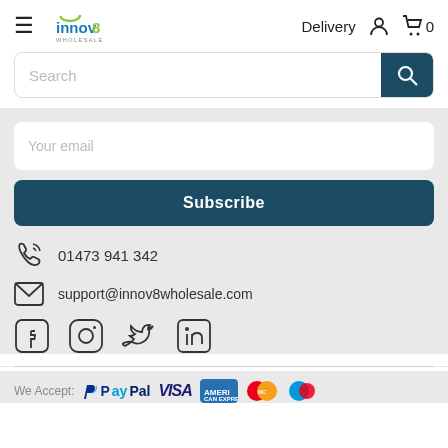innov8 wholesale — Delivery, account, cart
Search
Your email
Subscribe
01473 941 342
support@innov8wholesale.com
[Figure (infographic): Social media icons: Facebook, Instagram, Twitter, LinkedIn]
We Accept: PayPal VISA American Express Mastercard Maestro